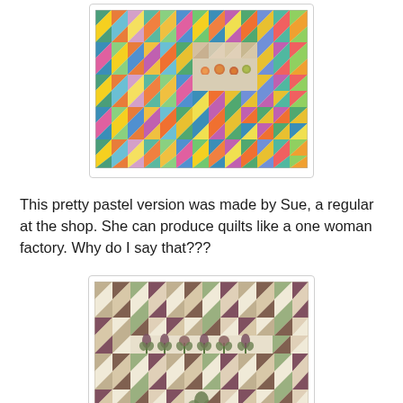[Figure (photo): Colorful pastel pinwheel/triangle quilt with bright multi-colored fabric pieces arranged in a geometric pattern, with a central rectangular medallion section surrounded by half-square triangle blocks in greens, yellows, oranges, blues, and pinks.]
This pretty pastel version was made by Sue, a regular at the shop. She can produce quilts like a one woman factory. Why do I say that???
[Figure (photo): Earthy-toned pinwheel quilt with muted browns, greens, creams, and burgundies arranged in pinwheel blocks, with a horizontal band of appliqued floral/botanical motifs (tulips and flowers in green and brown) across the center, on a cream background.]